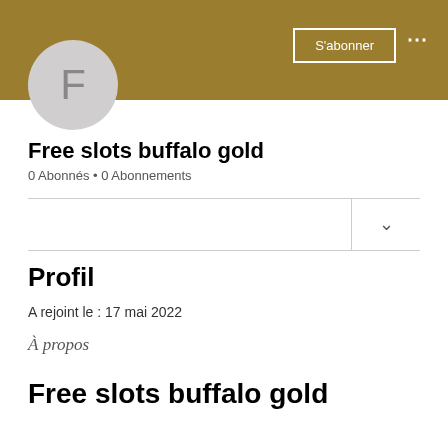[Figure (screenshot): Gold/tan colored channel banner header background]
[Figure (illustration): Light gray circular avatar with letter F]
S'abonner
Free slots buffalo gold
0 Abonnés • 0 Abonnements
Profil
A rejoint le : 17 mai 2022
À propos
Free slots buffalo gold